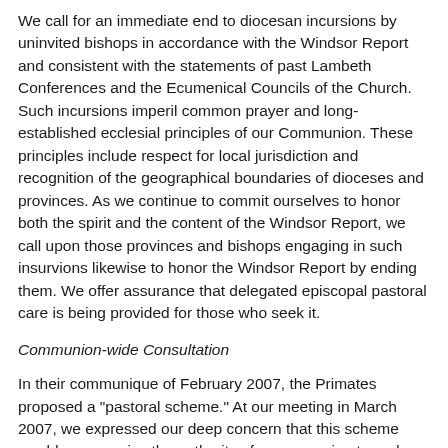We call for an immediate end to diocesan incursions by uninvited bishops in accordance with the Windsor Report and consistent with the statements of past Lambeth Conferences and the Ecumenical Councils of the Church. Such incursions imperil common prayer and long-established ecclesial principles of our Communion. These principles include respect for local jurisdiction and recognition of the geographical boundaries of dioceses and provinces. As we continue to commit ourselves to honor both the spirit and the content of the Windsor Report, we call upon those provinces and bishops engaging in such insurvions likewise to honor the Windsor Report by ending them. We offer assurance that delegated episcopal pastoral care is being provided for those who seek it.
Communion-wide Consultation
In their communique of February 2007, the Primates proposed a "pastoral scheme." At our meeting in March 2007, we expressed our deep concern that this scheme would compromise the authority of our own primate and place the autonomy of The Episcopal Church at risk. The